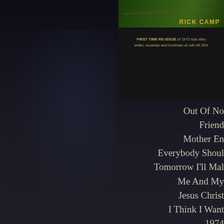[Figure (photo): Album cover image in top right area showing green/dark background with artist name in gold letters and text about first time re-issue of 1973 solo album]
FIRST TIME RE-ISSUE of 1973 solo album writer, musician and frontman of cult UK 60's
Out Of No
Friend
Mother En
Everybody Shoul
Tomorrow I'll Mal
Me And My
Jesus Christ
I Think I Want
1974
Watch Out Ca
On The R
Please Belie
Lord Up A
She's Los
Nova Sk
I Need Your Lo
Will There